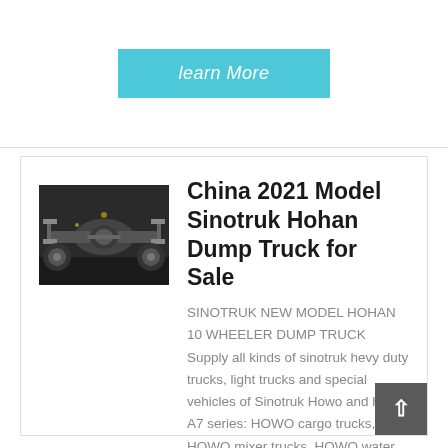[Figure (other): Cyan/turquoise 'learn More' button]
[Figure (photo): Undercarriage/axle view of a dump truck, showing mechanical components against a dark background]
China 2021 Model Sinotruk Hohan Dump Truck for Sale
SINOTRUK NEW MODEL HOHAN 10 WHEELER DUMP TRUCK Supply all kinds of sinotruk hevy duty trucks, light trucks and special vehicles of Sinotruk Howo and howo A7 series: HOWO cargo trucks, HOWO mixer trucks, HOWO water trucks, HOWO fuel tank trucks, HOWO advertising